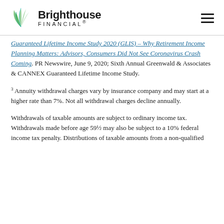Brighthouse Financial
Guaranteed Lifetime Income Study 2020 (GLIS) – Why Retirement Income Planning Matters: Advisors, Consumers Did Not See Coronavirus Crash Coming. PR Newswire, June 9, 2020; Sixth Annual Greenwald & Associates & CANNEX Guaranteed Lifetime Income Study.
3 Annuity withdrawal charges vary by insurance company and may start at a higher rate than 7%. Not all withdrawal charges decline annually.
Withdrawals of taxable amounts are subject to ordinary income tax. Withdrawals made before age 59½ may also be subject to a 10% federal income tax penalty. Distributions of taxable amounts from a non-qualified annuity may also be subject to the 3.8% Net Investment Income Tax that generally applies to net investment income if your modified adjusted gross income exceeds the applicable threshold amount.